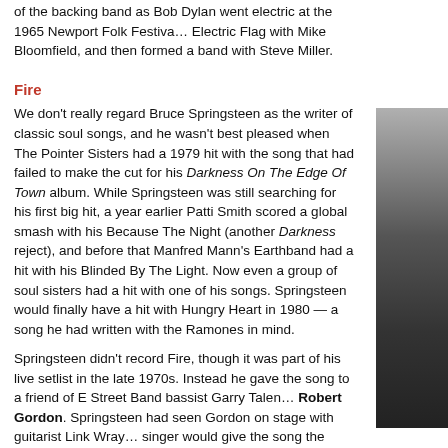of the backing band as Bob Dylan went electric at the 1965 Newport Folk Festival. Electric Flag with Mike Bloomfield, and then formed a band with Steve Miller.
Fire
We don't really regard Bruce Springsteen as the writer of classic soul songs, and he wasn't best pleased when The Pointer Sisters had a 1979 hit with the song that had failed to make the cut for his Darkness On The Edge Of Town album. While Springsteen was still searching for his first big hit, a year earlier Patti Smith scored a global smash with his Because The Night (another Darkness reject), and before that Manfred Mann's Earthband had a hit with his Blinded By The Light. Now even a group of soul sisters had a hit with one of his songs. Springsteen would finally have a hit with Hungry Heart in 1980 — a song he had written with the Ramones in mind.
Springsteen didn't record Fire, though it was part of his live setlist in the late 1970s. Instead he gave the song to a friend of E Street Band bassist Garry Tallent, Robert Gordon. Springsteen had seen Gordon on stage with guitarist Link Wray and felt the singer would give the song the appropriate treatment. Gordon and Wray recorded…
The Pointer Sisters came to Fire through their producer, Richard Perry, who had seen Springsteen singing it in concert. He thought it would make a great song for Anita… success proved him right. Fire was released in October 1978 as the lead single f… Springsteen finally had a hit with Fire in 1987, with a live recording from Decemb…
[Figure (photo): Partial photograph of a person, cropped on the right side of the page, showing a dark monochromatic image.]